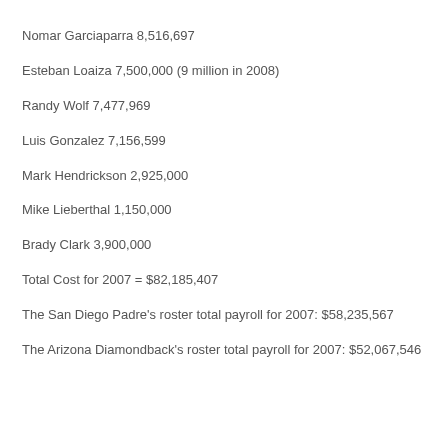Nomar Garciaparra 8,516,697
Esteban Loaiza 7,500,000 (9 million in 2008)
Randy Wolf 7,477,969
Luis Gonzalez 7,156,599
Mark Hendrickson 2,925,000
Mike Lieberthal 1,150,000
Brady Clark 3,900,000
Total Cost for 2007 = $82,185,407
The San Diego Padre's roster total payroll for 2007: $58,235,567
The Arizona Diamondback's roster total payroll for 2007: $52,067,546